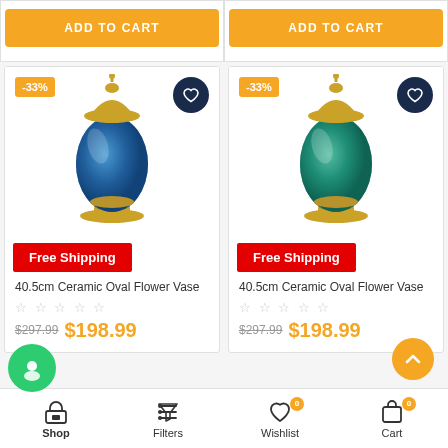[Figure (screenshot): E-commerce product listing page showing two ceramic oval flower vases with add-to-cart buttons, discount badges (-33%), free shipping labels, product titles, star ratings, and prices ($198.99 sale from $297.99).]
ADD TO CART
ADD TO CART
-33%
-33%
Free Shipping
Free Shipping
40.5cm Ceramic Oval Flower Vase
40.5cm Ceramic Oval Flower Vase
$297.99  $198.99
$297.99  $198.99
Shop   Filters   Wishlist   Cart